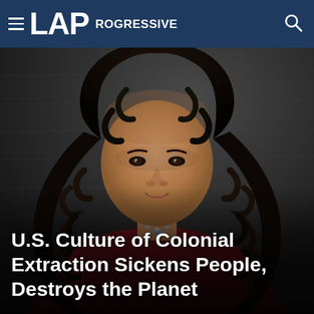≡ LAProgressive
[Figure (photo): Portrait photo of a woman with long curly dark hair, wearing a dark red blazer and beaded necklace, posed against a dark textured background.]
U.S. Culture of Colonial Extraction Sickens People, Destroys the Planet